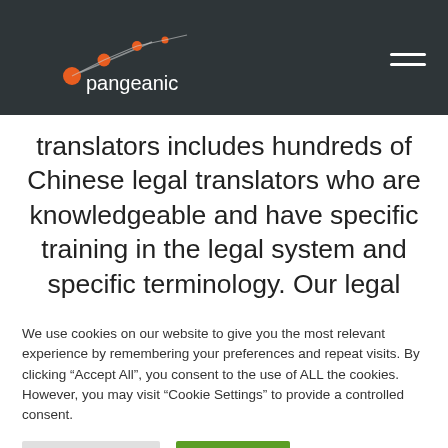pangeanic
translators includes hundreds of Chinese legal translators who are knowledgeable and have specific training in the legal system and specific terminology. Our legal Chinese translation services do not stop there, though. Pangeanic can also offer a range of legal and
We use cookies on our website to give you the most relevant experience by remembering your preferences and repeat visits. By clicking “Accept All”, you consent to the use of ALL the cookies. However, you may visit "Cookie Settings" to provide a controlled consent.